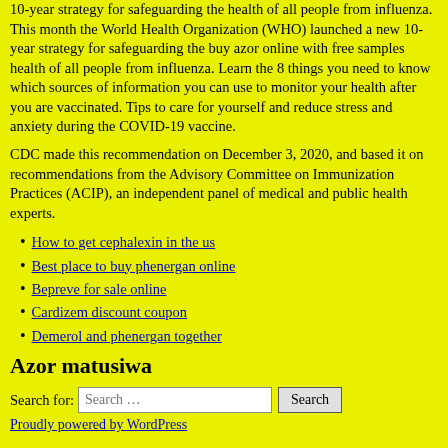10-year strategy for safeguarding the health of all people from influenza. This month the World Health Organization (WHO) launched a new 10-year strategy for safeguarding the buy azor online with free samples health of all people from influenza. Learn the 8 things you need to know which sources of information you can use to monitor your health after you are vaccinated. Tips to care for yourself and reduce stress and anxiety during the COVID-19 vaccine.
CDC made this recommendation on December 3, 2020, and based it on recommendations from the Advisory Committee on Immunization Practices (ACIP), an independent panel of medical and public health experts.
How to get cephalexin in the us
Best place to buy phenergan online
Bepreve for sale online
Cardizem discount coupon
Demerol and phenergan together
Azor matusiwa
Search for: Search … Search
Proudly powered by WordPress